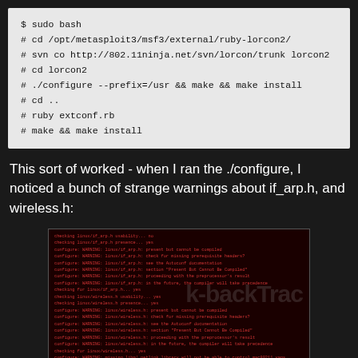$ sudo bash
# cd /opt/metasploit3/msf3/external/ruby-lorcon2/
# svn co http://802.11ninja.net/svn/lorcon/trunk lorcon2
# cd lorcon2
# ./configure --prefix=/usr && make && make install
# cd ..
# ruby extconf.rb
# make && make install
This sort of worked - when I ran the ./configure, I noticed a bunch of strange warnings about if_arp.h, and wireless.h:
[Figure (screenshot): Terminal screenshot showing configure warnings about linux/if_arp.h and linux/wireless.h presence checks, with a BackTrack watermark overlay in grey]
A quick dive into the autoconf documentation